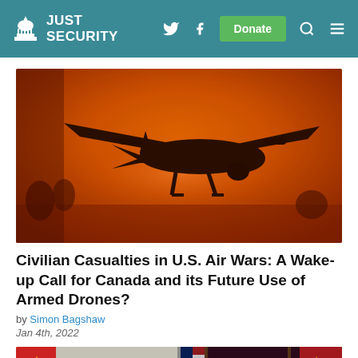JUST SECURITY
[Figure (photo): Silhouette of a military drone (MQ-9 Reaper style) against an orange-red sky background]
Civilian Casualties in U.S. Air Wars: A Wake-up Call for Canada and its Future Use of Armed Drones?
by Simon Bagshaw
Jan 4th, 2022
[Figure (photo): Split screen photo showing President Biden on the left with Chinese flags, and President Xi Jinping on the right with Chinese and American flags, during a virtual summit]